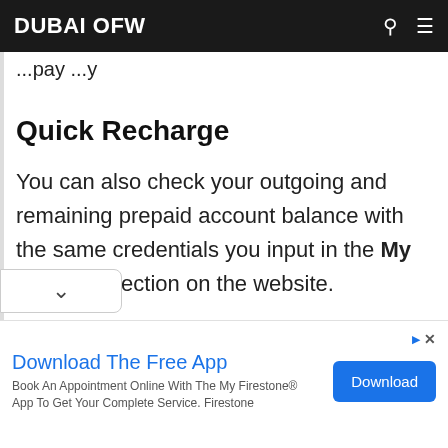DUBAI OFW
pay ...y
Quick Recharge
You can also check your outgoing and remaining prepaid account balance with the same credentials you input in the My Account section on the website.
[Figure (other): Advertisement banner: Download The Free App – Book An Appointment Online With The My Firestone® App To Get Your Complete Service. Firestone. Blue Download button.]